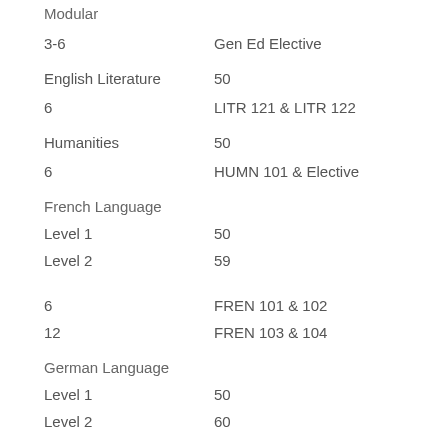Modular
3-6
Gen Ed Elective
English Literature
50
6
LITR 121 & LITR 122
Humanities
50
6
HUMN 101 & Elective
French Language
Level 1
50
Level 2
59
6
FREN 101 & 102
12
FREN 103 & 104
German Language
Level 1
50
Level 2
60